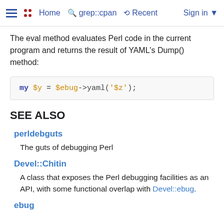Home  grep::cpan  Recent  Sign in
The eval method evaluates Perl code in the current program and returns the result of YAML's Dump() method:
SEE ALSO
perldebguts
The guts of debugging Perl
Devel::Chitin
A class that exposes the Perl debugging facilities as an API, with some functional overlap with Devel::ebug.
ebug